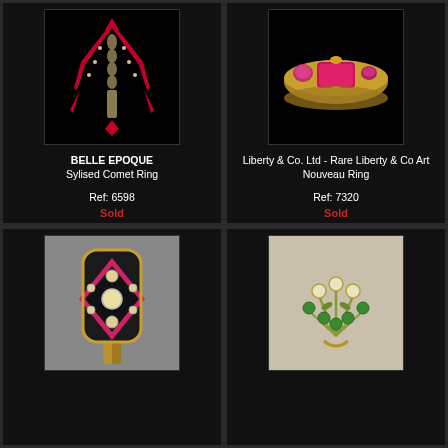[Figure (photo): BELLE EPOQUE Stylised Comet Ring — Art Nouveau ring with ruby and diamond design on black background]
BELLE EPOQUE Sylised Comet Ring
Ref: 6598
Sold
[Figure (photo): Liberty & Co. Ltd Rare Liberty & Co Art Nouveau Ring — gold ring with pink/ruby stones on black background]
Liberty & Co. Ltd - Rare Liberty & Co Art Nouveau Ring
Ref: 7320
Sold
[Figure (photo): Art Deco panel ring with pink enamel and diamonds on grey background]
[Figure (photo): Antique floral brooch with demantoid garnets and diamonds on cream background]